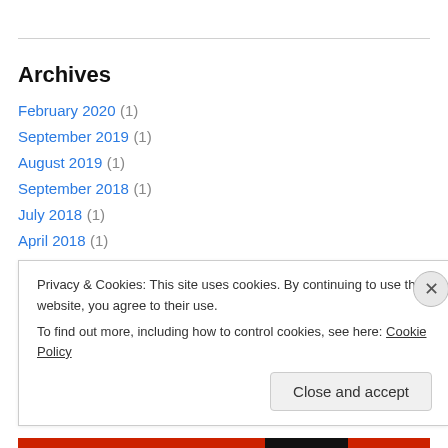Archives
February 2020 (1)
September 2019 (1)
August 2019 (1)
September 2018 (1)
July 2018 (1)
April 2018 (1)
September 2017 (2)
December 2016 (1)
Privacy & Cookies: This site uses cookies. By continuing to use this website, you agree to their use. To find out more, including how to control cookies, see here: Cookie Policy
Close and accept